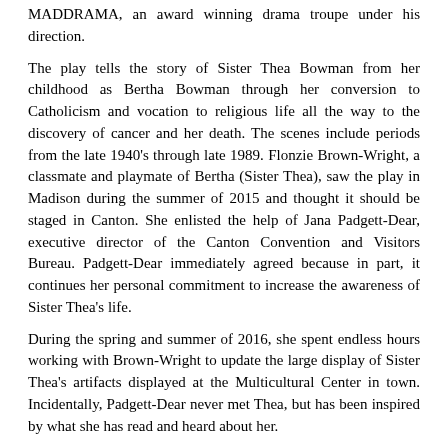MADDRAMA, an award winning drama troupe under his direction.
The play tells the story of Sister Thea Bowman from her childhood as Bertha Bowman through her conversion to Catholicism and vocation to religious life all the way to the discovery of cancer and her death. The scenes include periods from the late 1940's through late 1989. Flonzie Brown-Wright, a classmate and playmate of Bertha (Sister Thea), saw the play in Madison during the summer of 2015 and thought it should be staged in Canton. She enlisted the help of Jana Padgett-Dear, executive director of the Canton Convention and Visitors Bureau. Padgett-Dear immediately agreed because in part, it continues her personal commitment to increase the awareness of Sister Thea's life.
During the spring and summer of 2016, she spent endless hours working with Brown-Wright to update the large display of Sister Thea's artifacts displayed at the Multicultural Center in town. Incidentally, Padgett-Dear never met Thea, but has been inspired by what she has read and heard about her.
The play attempts to capture the essence of Thea's struggle of what it meant to be black and Catholic" and her ultimate decision to reconcile Bertha, the great- granddaughter of a slave, and her African American culture with that of the all- white, traditional culture of the Franciscan Sisters of Perpetual Adoration in La Crosse, Wis., where she was Sister Thea.